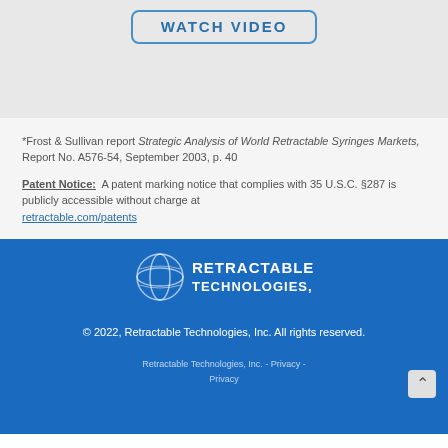[Figure (other): Watch Video button/box with blue border and bold blue text]
*Frost & Sullivan report Strategic Analysis of World Retractable Syringes Markets, Report No. A576-54, September 2003, p. 40
Patent Notice:  A patent marking notice that complies with 35 U.S.C. §287 is publicly accessible without charge at retractable.com/patents
[Figure (logo): Retractable Technologies, Inc. logo — globe spiral icon with white text on blue background]
© 2022, Retractable Technologies, Inc. All rights reserved.
Retractable Technologies, Inc. - Privacy -
Privacy